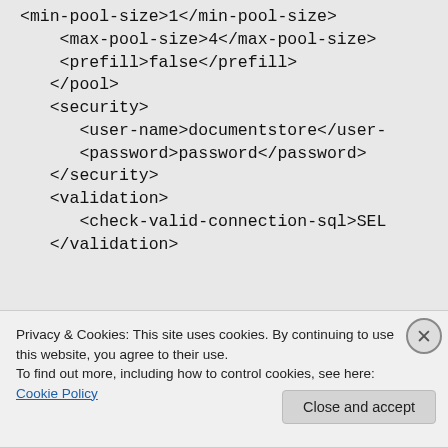<min-pool-size>1</min-pool-size>
<max-pool-size>4</max-pool-size>
<prefill>false</prefill>
</pool>
<security>
    <user-name>documentstore</user-name>
    <password>password</password>
</security>
<validation>
    <check-valid-connection-sql>SEL
</validation>
Privacy & Cookies: This site uses cookies. By continuing to use this website, you agree to their use.
To find out more, including how to control cookies, see here: Cookie Policy
Close and accept